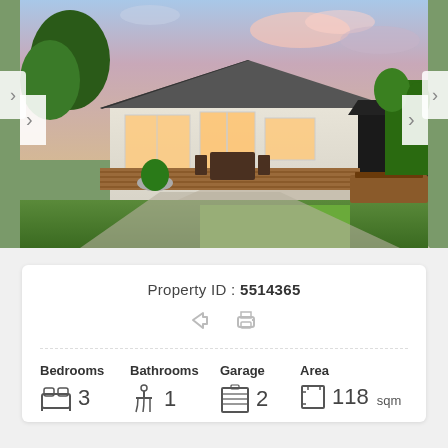[Figure (photo): Exterior photo of a single-story house with a wooden deck, outdoor dining furniture, potted plant, lush green lawn, and a sunset sky with pink clouds.]
Property ID : 5514365
| Bedrooms | Bathrooms | Garage | Area |
| --- | --- | --- | --- |
| 3 | 1 | 2 | 118 sqm |